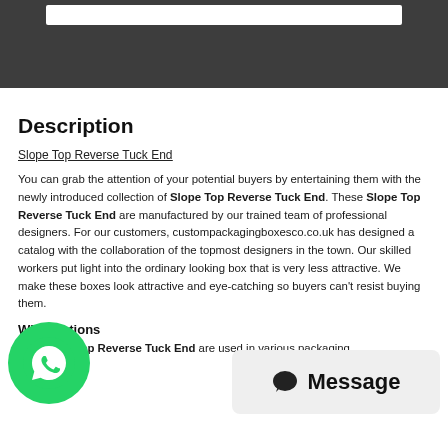[Figure (screenshot): Dark grey header bar with a white rectangle inside]
Description
Slope Top Reverse Tuck End
You can grab the attention of your potential buyers by entertaining them with the newly introduced collection of Slope Top Reverse Tuck End. These Slope Top Reverse Tuck End are manufactured by our trained team of professional designers. For our customers, custompackagingboxesco.co.uk has designed a catalog with the collaboration of the topmost designers in the town. Our skilled workers put light into the ordinary looking box that is very less attractive. We make these boxes look attractive and eye-catching so buyers can't resist buying them.
What options
Our Slope Top Reverse Tuck End are used in various packaging
[Figure (logo): WhatsApp green circular button]
[Figure (other): Message button with chat bubble icon]